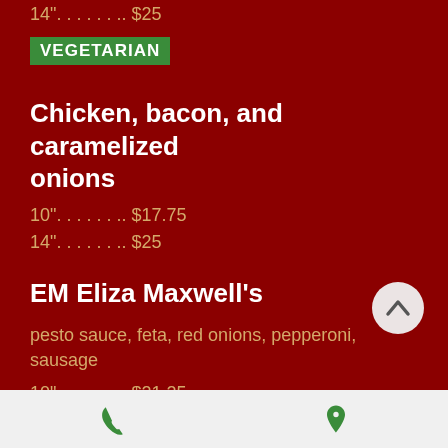14". . . . . . .. $25
VEGETARIAN
Chicken, bacon, and caramelized onions
10". . . . . . .. $17.75
14". . . . . . .. $25
EM Eliza Maxwell's
pesto sauce, feta, red onions, pepperoni, sausage
10". . . . . . .. $21.25
14". . . . . . .. $30
All Meat